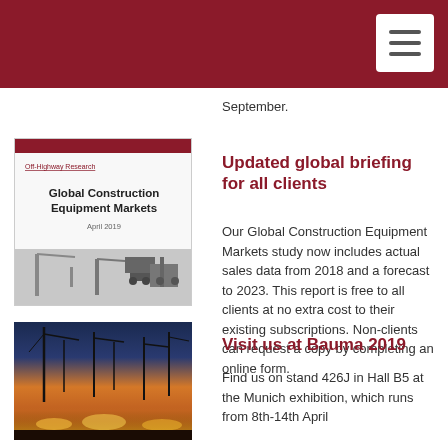September.
Updated global briefing for all clients
[Figure (illustration): Cover of Global Construction Equipment Markets report by Off-Highway Research]
Our Global Construction Equipment Markets study now includes actual sales data from 2018 and a forecast to 2023. This report is free to all clients at no extra cost to their existing subscriptions. Non-clients can request a copy by completing an online form.
Visit us at Bauma 2019
[Figure (photo): Night photo of construction site or industrial exhibition with cranes and lights]
Find us on stand 426J in Hall B5 at the Munich exhibition, which runs from 8th-14th April